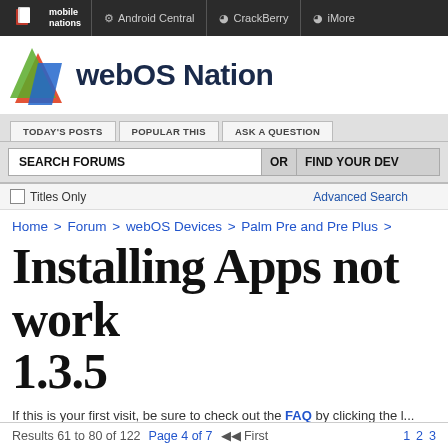mobile nations | Android Central | CrackBerry | iMore
webOS Nation
[Figure (logo): webOS Nation colorful logo icon with green, red, and blue overlapping triangles/shapes]
TODAY'S POSTS | POPULAR THIS | ASK A QUESTION
SEARCH FORUMS | OR | FIND YOUR DEV
Titles Only   Advanced Search
Home > Forum > webOS Devices > Palm Pre and Pre Plus >
Installing Apps not work... 1.3.5
If this is your first visit, be sure to check out the FAQ by clicking the l... register before you can post: click the register link above to proceed... select the forum that you want to visit from the selection below.
Results 61 to 80 of 122   Page 4 of 7   First   1  2  3